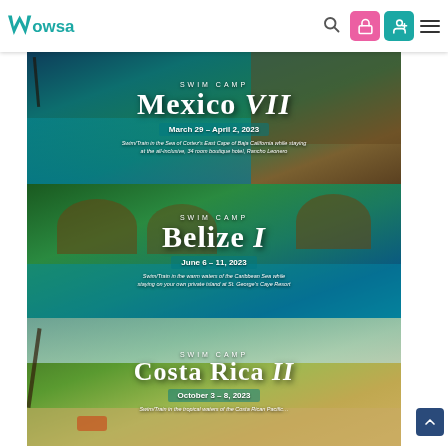WOWSA - navigation bar with logo, search, and icons
[Figure (photo): Swim Camp Mexico VII promotional banner. Blue twilight pool and tropical hotel in background. Text: SWIM CAMP MEXICO VII, March 29 - April 2, 2023. Subtitle: Swim/Train in the Sea of Cortez's East Cape of Baja California while staying at the all-inclusive, 34 room boutique hotel, Rancho Leonero.]
[Figure (photo): Swim Camp Belize I promotional banner. Aerial view of thatched-roof overwater bungalows on a tropical island. Text: SWIM CAMP BELIZE I, June 6 - 11, 2023. Subtitle: Swim/Train in the warm waters of the Caribbean Sea while staying on your own private island at St. George's Caye Resort.]
[Figure (photo): Swim Camp Costa Rica II promotional banner. Beach scene with trees and lounge chairs. Text: SWIM CAMP COSTA RICA II, October 3 - 8, 2023.]